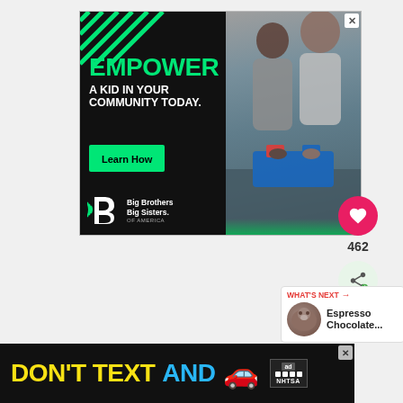[Figure (infographic): Big Brothers Big Sisters of America advertisement. Left panel: black background with green text 'EMPOWER A KID IN YOUR COMMUNITY TODAY.' and a green 'Learn How' button, plus the BBBS logo at bottom. Right panel: photo of an adult man and a boy working on a robotics project together. Decorative geometric pattern background.]
[Figure (infographic): Heart/like button (pink circle with white heart icon) and share button (green circle with share icon), with like count '462' below the heart button. Social media interaction buttons on right side.]
[Figure (infographic): What's Next card showing a thumbnail image of a hedgehog or small animal, with red text 'WHAT'S NEXT →' and bold text 'Espresso Chocolate...']
[Figure (infographic): NHTSA 'Don't Text and Drive' advertisement banner at bottom. Black background with yellow text 'DON'T TEXT' and cyan/blue text 'AND', red car emoji, and NHTSA logo with 'ad' badge.]